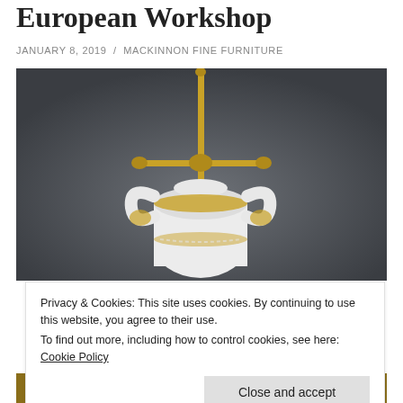European Workshop
JANUARY 8, 2019 / MACKINNON FINE FURNITURE
[Figure (photo): White porcelain vase with elaborate handles and gold decorative trim, with a brass lamp fitting on top, photographed against a dark grey background]
Privacy & Cookies: This site uses cookies. By continuing to use this website, you agree to their use.
To find out more, including how to control cookies, see here: Cookie Policy
Close and accept
[Figure (photo): Partial view of gold/brass decorative object at the bottom of the page]